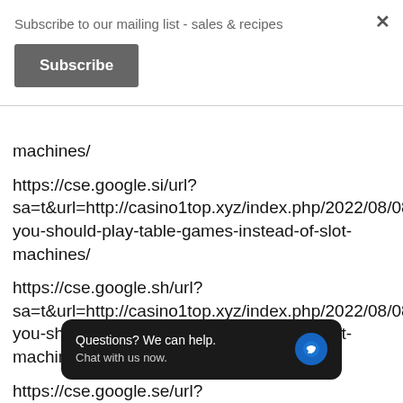Subscribe to our mailing list - sales & recipes
Subscribe
machines/
https://cse.google.si/url?sa=t&url=http://casino1top.xyz/index.php/2022/08/08/wh you-should-play-table-games-instead-of-slot-machines/
https://cse.google.sh/url?sa=t&url=http://casino1top.xyz/index.php/2022/08/08/wh you-should-play-table-games-instead-of-slot-machines/
https://cse.google.se/url?sa=t&url=http://casino1top.xyz/index.php/2022/08/08/wh you-should-play-table-games-instead-of-slot-machines/
Questions? We can help. Chat with us now.